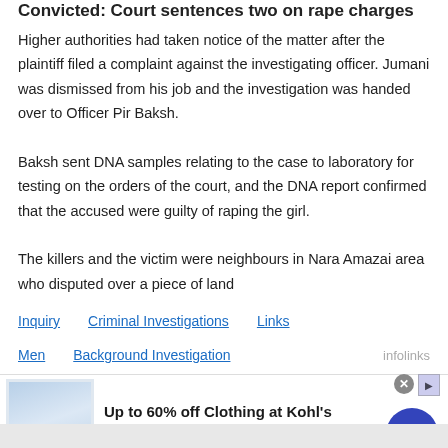Convicted: Court sentences two on rape charges
Higher authorities had taken notice of the matter after the plaintiff filed a complaint against the investigating officer. Jumani was dismissed from his job and the investigation was handed over to Officer Pir Baksh.
Baksh sent DNA samples relating to the case to laboratory for testing on the orders of the court, and the DNA report confirmed that the accused were guilty of raping the girl.
The killers and the victim were neighbours in Nara Amazai area who disputed over a piece of land
Inquiry
Criminal Investigations
Links
Men
Background Investigation
infolinks
[Figure (screenshot): Advertisement banner: Up to 60% off Clothing at Kohl's. Save up to 60% on clothing and homeware at Kohls.com. kohls.com. Shows a Kohl's savings advertisement with product image and a blue circular arrow button.]